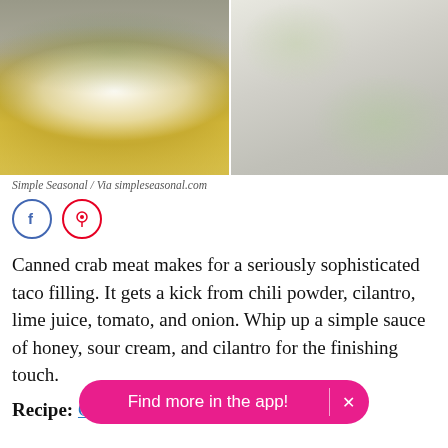[Figure (photo): Two food photos side by side: left shows a bowl with golden broth and white cream topping with green herbs; right shows tacos with avocado, corn, tomato, and sour cream drizzle]
Simple Seasonal / Via simpleseasonal.com
[Figure (other): Social share buttons: Facebook and Pinterest circle icons]
Canned crab meat makes for a seriously sophisticated taco filling. It gets a kick from chili powder, cilantro, lime juice, tomato, and onion. Whip up a simple sauce of honey, sour cream, and cilantro for the finishing touch.
Recipe: Cilantro Lime Crab Tacos
Find more in the app!  ×